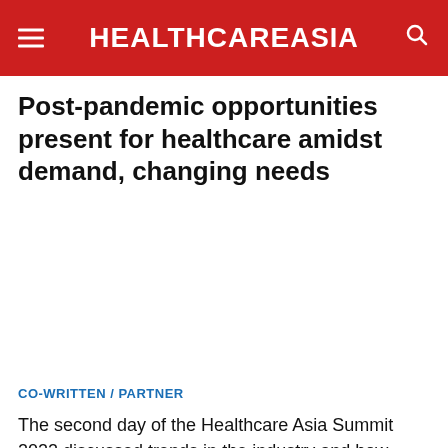HEALTHCAREASiA
Post-pandemic opportunities present for healthcare amidst demand, changing needs
[Figure (other): White/blank image area (article image not loaded)]
CO-WRITTEN / PARTNER
The second day of the Healthcare Asia Summit 2022 discussed trends in the industry and how healthcare organisations can take advantage of them in improving their services.